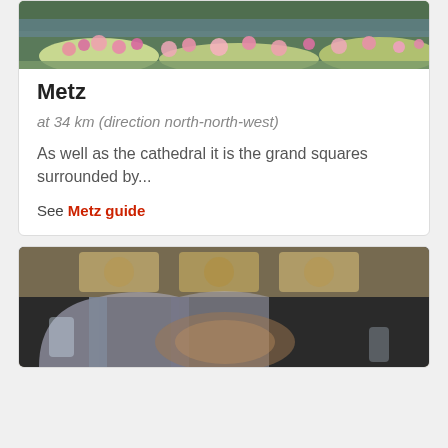[Figure (photo): Photo of flowers near water, top portion visible — garden scene with pink flowers]
Metz
at 34 km (direction north-north-west)
As well as the cathedral it is the grand squares surrounded by...
See Metz guide
[Figure (photo): Interior of a church or cathedral showing ornate ceiling, arches, and decorative paintings]